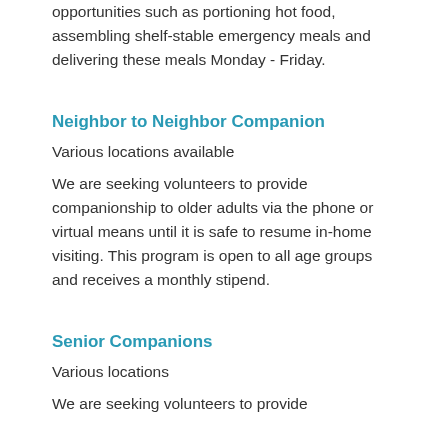opportunities such as portioning hot food, assembling shelf-stable emergency meals and delivering these meals Monday - Friday.
Neighbor to Neighbor Companion
Various locations available
We are seeking volunteers to provide companionship to older adults via the phone or virtual means until it is safe to resume in-home visiting. This program is open to all age groups and receives a monthly stipend.
Senior Companions
Various locations
We are seeking volunteers to provide